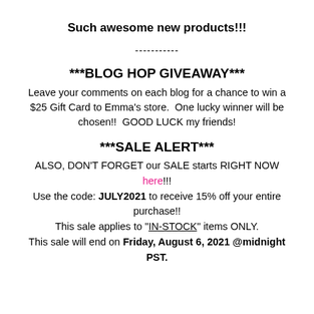Such awesome new products!!!
-----------
***BLOG HOP GIVEAWAY***
Leave your comments on each blog for a chance to win a $25 Gift Card to Emma's store.  One lucky winner will be chosen!!  GOOD LUCK my friends!
***SALE ALERT***
ALSO, DON'T FORGET our SALE starts RIGHT NOW here!!!
Use the code: JULY2021 to receive 15% off your entire purchase!!
This sale applies to "IN-STOCK" items ONLY.
This sale will end on Friday, August 6, 2021 @midnight PST.